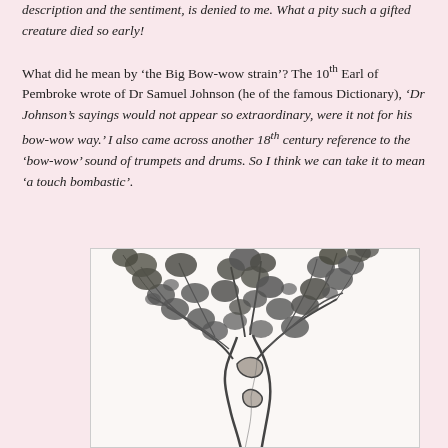description and the sentiment, is denied to me. What a pity such a gifted creature died so early!
What did he mean by ‘the Big Bow-wow strain’? The 10th Earl of Pembroke wrote of Dr Samuel Johnson (he of the famous Dictionary), ‘Dr Johnson’s sayings would not appear so extraordinary, were it not for his bow-wow way.’ I also came across another 18th century reference to the ‘bow-wow’ sound of trumpets and drums. So I think we can take it to mean ‘a touch bombastic’.
[Figure (illustration): Black and white engraving of a gnarled tree with a full leafy canopy, detailed branches and trunk, appearing to be an olive or similarly shaped tree.]